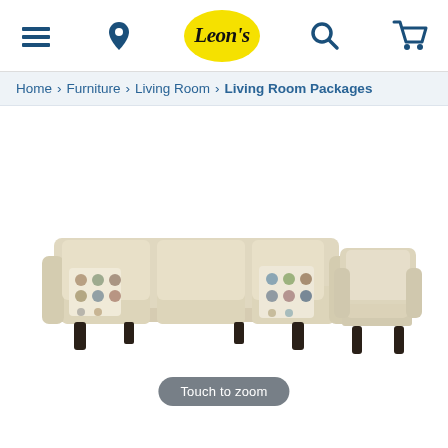Leon's navigation header with menu, location, logo, search, and cart icons
Home > Furniture > Living Room > Living Room Packages
[Figure (photo): A beige/cream three-seat sofa with two decorative circle-patterned pillows alongside a matching beige accent chair with a back cushion, both on dark tapered wooden legs, displayed on a white background.]
Touch to zoom